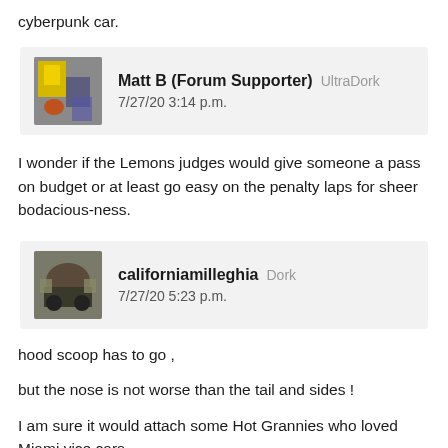cyberpunk car.
Matt B (Forum Supporter)  UltraDork
7/27/20 3:14 p.m.
I wonder if the Lemons judges would give someone a pass on budget or at least go easy on the penalty laps for sheer bodacious-ness.
californiamilleghia  Dork
7/27/20 5:23 p.m.
hood scoop has to go ,
but the nose is not worse than the tail and sides !
I am sure it would attach some Hot Grannies who loved Miami vice cars